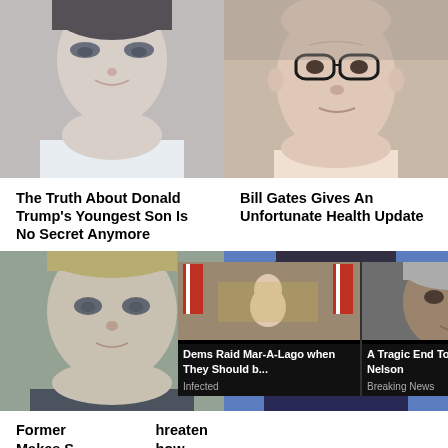[Figure (photo): Close-up photo of a young man (Trump's youngest son) with light skin and dark hair]
[Figure (photo): Close-up photo of an older man with glasses (Bill Gates)]
The Truth About Donald Trump's Youngest Son Is No Secret Anymore
Bill Gates Gives An Unfortunate Health Update
[Figure (photo): Close-up photo of a middle-aged man with short blond hair and light eyes]
[Figure (photo): Photo of a smiling woman with dark curly hair wearing glasses]
Former ... hreaten Makes S ... how
[Figure (photo): Ad overlay: man at desk with US flags - Dems Raid Mar-A-Lago when They Should b...]
Dems Raid Mar-A-Lago when They Should b...
Infected
[Figure (photo): Ad overlay: elderly man - A Tragic End Today For Willie Nelson]
A Tragic End Today For Willie Nelson
Breaking News